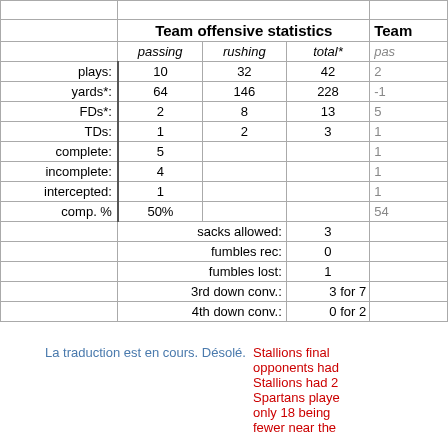|  | Team offensive statistics (passing) | Team offensive statistics (rushing) | Team offensive statistics (total*) | Team ... (pas...) |
| --- | --- | --- | --- | --- |
| plays: | 10 | 32 | 42 | 2 |
| yards*: | 64 | 146 | 228 | -1 |
| FDs*: | 2 | 8 | 13 | 5 |
| TDs: | 1 | 2 | 3 | 1 |
| complete: | 5 |  |  | 1 |
| incomplete: | 4 |  |  | 1 |
| intercepted: | 1 |  |  | 1 |
| comp. % | 50% |  |  | 54 |
|  | sacks allowed: |  | 3 |  |
|  | fumbles rec: |  | 0 |  |
|  | fumbles lost: |  | 1 |  |
|  | 3rd down conv.: |  | 3 for 7 |  |
|  | 4th down conv.: |  | 0 for 2 |  |
La traduction est en cours. Désolé.
Stallions final... opponents had... Stallions had... Spartans playe... only 18 being... fewer near the...